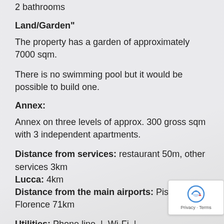2 bathrooms
Land/Garden"
The property has a garden of approximately 7000 sqm.
There is no swimming pool but it would be possible to build one.
Annex:
Annex on three levels of approx. 300 gross sqm with 3 independent apartments.
Distance from services: restaurant 50m, other services 3km
Lucca: 4km
Distance from the main airports: Pisa 34km | Florence 71km
Utilities: Phone line | Wi-Fi | Heating | Mains/c water + electricity